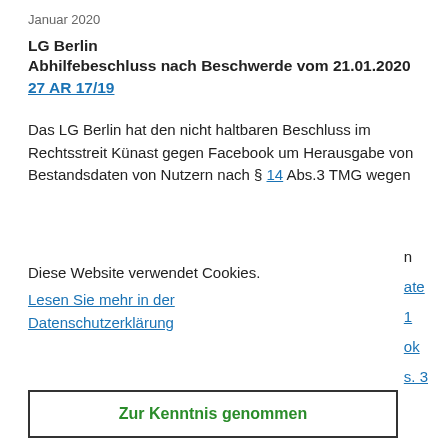Januar 2020
LG Berlin
Abhilfebeschluss nach Beschwerde vom 21.01.2020
27 AR 17/19
Das LG Berlin hat den nicht haltbaren Beschluss im Rechtsstreit Künast gegen Facebook um Herausgabe von Bestandsdaten von Nutzern nach § 14 Abs.3 TMG wegen
Diese Website verwendet Cookies.
Lesen Sie mehr in der Datenschutzerklärung
n
ate
1
ok
s. 3
Zur Kenntnis genommen
Die Pressemitteilung des Gerichts.